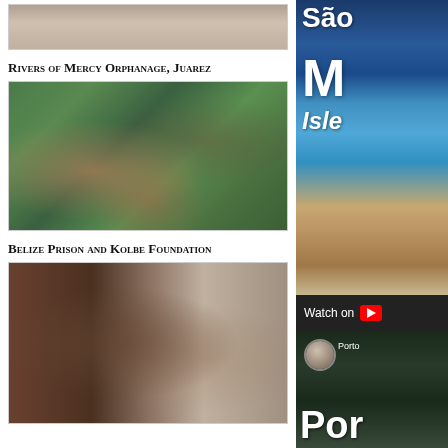[Figure (photo): Partial top photo, cropped, showing interior scene]
Rivers of Mercy Orphanage, Juarez
[Figure (photo): Interior of orphanage dormitory with bunk beds, women and children visible]
Belize Prison and Kolbe Foundation
[Figure (photo): Prison interior showing a shirtless man standing in a doorway]
[Figure (photo): Right column top image: Sao isle promotional image with text 'São', 'M', 'Isle' over coastal scenery with 'Watch on YouTube' bar]
[Figure (photo): Right column bottom image: Porto video thumbnail with avatar and 'Por' text overlay]